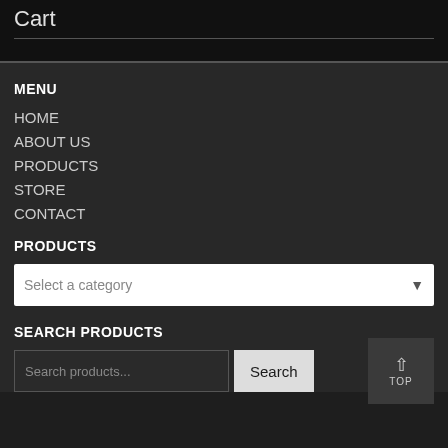Cart
MENU
HOME
ABOUT US
PRODUCTS
STORE
CONTACT
PRODUCTS
Select a category
SEARCH PRODUCTS
Search products...
Search
TOP